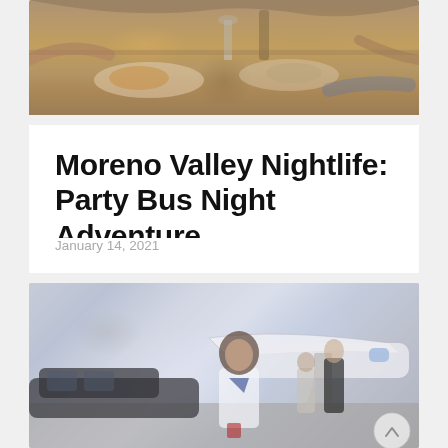[Figure (photo): Top photo: people dining at a restaurant table with food and drinks, shot from above/side angle. Warm-toned image showing hands, plates with food, glasses.]
Moreno Valley Nightlife: Party Bus Night Adventure
January 14, 2021
[Figure (photo): Bottom photo: A smiling female flight attendant or chauffeur in white shirt and blue neckerchief standing in front of a limousine and a private jet. In the background, a woman in a black dress descends the jet stairs assisted by a man.]